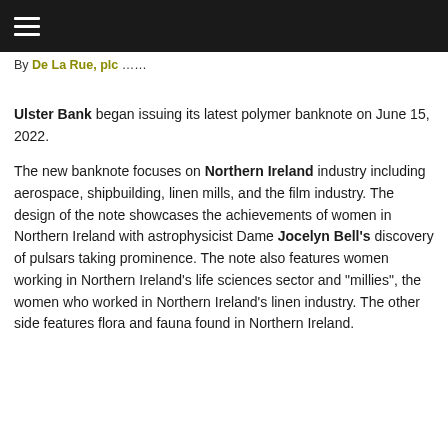≡
By De La Rue, plc ……
Ulster Bank began issuing its latest polymer banknote on June 15, 2022.
The new banknote focuses on Northern Ireland industry including aerospace, shipbuilding, linen mills, and the film industry. The design of the note showcases the achievements of women in Northern Ireland with astrophysicist Dame Jocelyn Bell's discovery of pulsars taking prominence. The note also features women working in Northern Ireland's life sciences sector and "millies", the women who worked in Northern Ireland's linen industry. The other side features flora and fauna found in Northern Ireland.